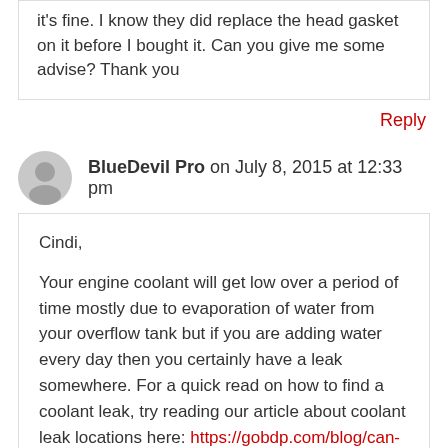it's fine. I know they did replace the head gasket on it before I bought it. Can you give me some advise? Thank you
Reply
BlueDevil Pro on July 8, 2015 at 12:33 pm
Cindi,

Your engine coolant will get low over a period of time mostly due to evaporation of water from your overflow tank but if you are adding water every day then you certainly have a leak somewhere. For a quick read on how to find a coolant leak, try reading our article about coolant leak locations here: https://gobdp.com/blog/can-fix-coolant-leak/. Hopefully this will help you figure out where you coolant is going so you can come up with a plan to repair the leak.